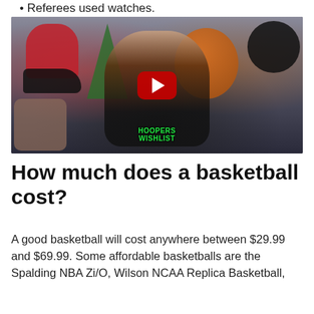Referees used watches.
[Figure (photo): YouTube video thumbnail showing a person with arms raised wearing a black Hoopers Wishlist shirt, surrounded by basketball gear including a Wilson basketball, red hoodie, Jordan sneakers, Christmas tree, PS5, Beats headphones, and a backpack. A red YouTube play button is centered on the thumbnail.]
How much does a basketball cost?
A good basketball will cost anywhere between $29.99 and $69.99. Some affordable basketballs are the Spalding NBA Zi/O, Wilson NCAA Replica Basketball,